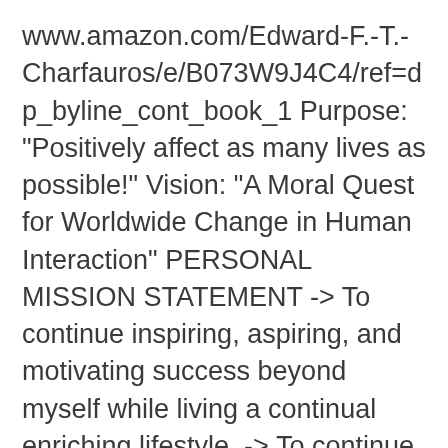www.amazon.com/Edward-F.-T.-Charfauros/e/B073W9J4C4/ref=dp_byline_cont_book_1 Purpose: "Positively affect as many lives as possible!" Vision: "A Moral Quest for Worldwide Change in Human Interaction" PERSONAL MISSION STATEMENT -> To continue inspiring, aspiring, and motivating success beyond myself while living a continual enriching lifestyle. -> To continue positively empowering myself toward financial independence while assisting as many lives as possible for the same. -> To continue promoting health, wellness, and nutrition for